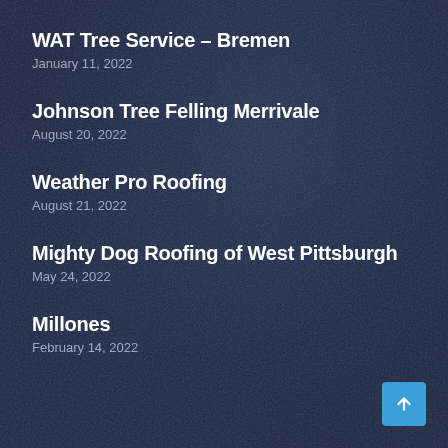WAT Tree Service – Bremen
January 11, 2022
Johnson Tree Felling Merrivale
August 20, 2022
Weather Pro Roofing
August 21, 2022
Mighty Dog Roofing of West Pittsburgh
May 24, 2022
Millones
February 14, 2022